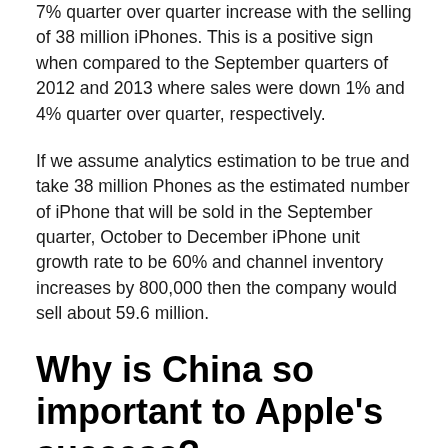7% quarter over quarter increase with the selling of 38 million iPhones. This is a positive sign when compared to the September quarters of 2012 and 2013 where sales were down 1% and 4% quarter over quarter, respectively.
If we assume analytics estimation to be true and take 38 million Phones as the estimated number of iPhone that will be sold in the September quarter, October to December iPhone unit growth rate to be 60% and channel inventory increases by 800,000 then the company would sell about 59.6 million.
Why is China so important to Apple's success?
With China's wireless subscribers around 1.27